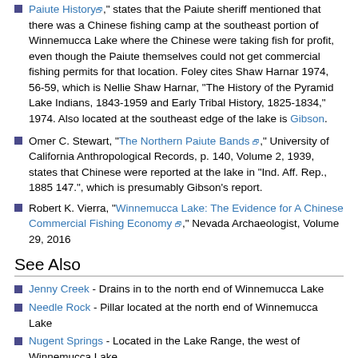Paiute History," states that the Paiute sheriff mentioned that there was a Chinese fishing camp at the southeast portion of Winnemucca Lake where the Chinese were taking fish for profit, even though the Paiute themselves could not get commercial fishing permits for that location. Foley cites Shaw Harnar 1974, 56-59, which is Nellie Shaw Harnar, "The History of the Pyramid Lake Indians, 1843-1959 and Early Tribal History, 1825-1834," 1974. Also located at the southeast edge of the lake is Gibson.
Omer C. Stewart, "The Northern Paiute Bands," University of California Anthropological Records, p. 140, Volume 2, 1939, states that Chinese were reported at the lake in "Ind. Aff. Rep., 1885 147.", which is presumably Gibson's report.
Robert K. Vierra, "Winnemucca Lake: The Evidence for A Chinese Commercial Fishing Economy," Nevada Archaeologist, Volume 29, 2016
See Also
Jenny Creek - Drains in to the north end of Winnemucca Lake
Needle Rock - Pillar located at the north end of Winnemucca Lake
Nugent Springs - Located in the Lake Range, the west of Winnemucca Lake.
Gibson - historical location at the south end of Winnemucca Lake
Goose Spring - Spring located on the east shore